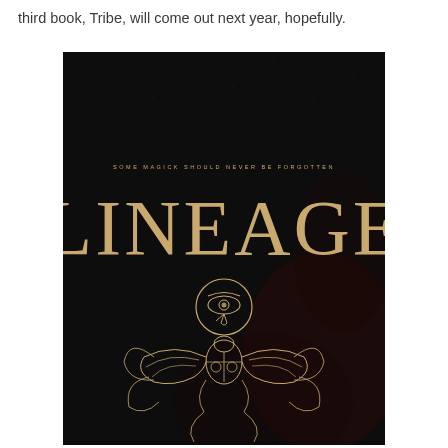third book, Tribe, will come out next year, hopefully.
[Figure (illustration): Book cover for 'Lineage' — dark black/charcoal textured background with a large gold serif title 'LINEAGE' in the center. Above the title in small spaced caps: 'SOME MAGICK SHOULD NEVER BE FORGOTTEN'. Below the title is a gold Egyptian-style decorative emblem featuring the Eye of Horus inside a circle, surrounded by an ornate scarab beetle with spread wings and floral/feather motifs, all rendered in gold line art.]